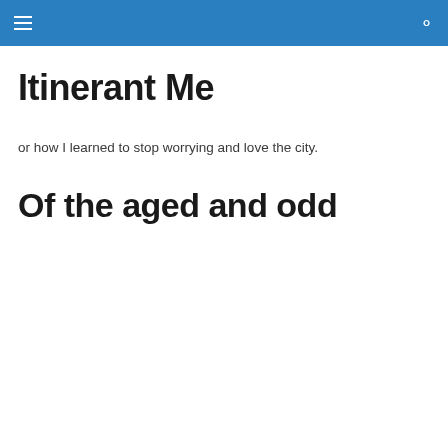≡ 🔍
Itinerant Me
or how I learned to stop worrying and love the city.
Of the aged and odd